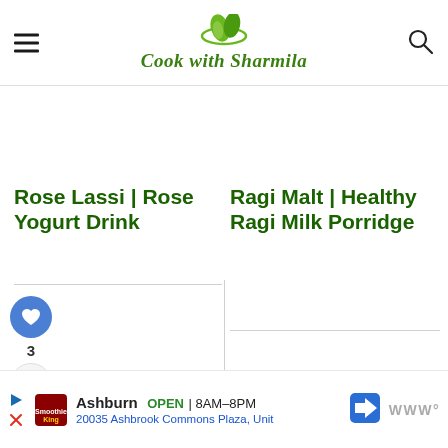Cook with Sharmila
Rose Lassi | Rose Yogurt Drink
Ragi Malt | Healthy Ragi Milk Porridge
[Figure (other): Social sidebar with heart/like button (blue circle, heart icon), like count '3', and share button]
WHAT'S NEXT → Ragi cookies | Eggless...
[Figure (photo): Thumbnail image of ragi cookies, circular crop]
Ashburn OPEN | 8AM–8PM 20035 Ashbrook Commons Plaza, Unit